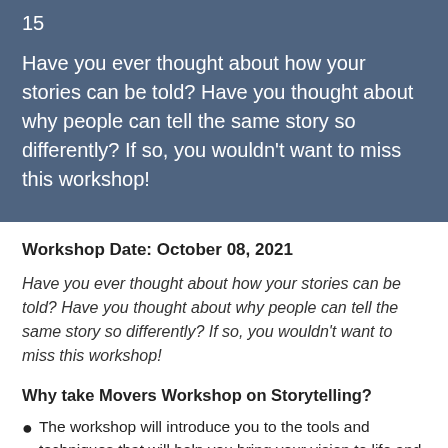15
Have you ever thought about how your stories can be told? Have you thought about why people can tell the same story so differently? If so, you wouldn't want to miss this workshop!
Workshop Date: October 08, 2021
Have you ever thought about how your stories can be told? Have you thought about why people can tell the same story so differently? If so, you wouldn't want to miss this workshop!
Why take Movers Workshop on Storytelling?
The workshop will introduce you to the tools and techniques that will help you bring your vision to life and